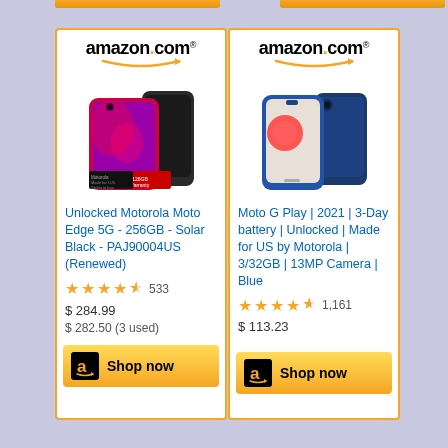[Figure (logo): Amazon.com logo with orange arrow]
[Figure (photo): Motorola Moto Edge 5G smartphone in Solar Black color, showing front and back views]
Unlocked Motorola Moto Edge 5G - 256GB - Solar Black - PAJ90004US (Renewed)
★★★★☆ 533
$ 284.99
$ 282.50 (3 used)
Shop now
[Figure (logo): Amazon.com logo with orange arrow]
[Figure (photo): Moto G Play smartphone in Blue color, showing front and back views]
Moto G Play | 2021 | 3-Day battery | Unlocked | Made for US by Motorola | 3/32GB | 13MP Camera | Blue
★★★★½ 1,161
$ 113.23
Shop now